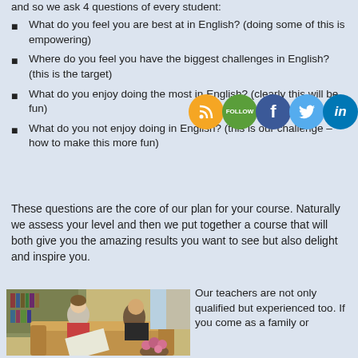and so we ask 4 questions of every student:
What do you feel you are best at in English? (doing some of this is empowering)
Where do you feel you have the biggest challenges in English? (this is the target)
What do you enjoy doing the most in English? (clearly this will be fun)
What do you not enjoy doing in English? (this is our challenge – how to make this more fun)
These questions are the core of our plan for your course. Naturally we assess your level and then we put together a course that will both give you the amazing results you want to see but also delight and inspire you.
[Figure (photo): Two women sitting on a sofa looking at a book together, with flowers and bookshelves in background]
Our teachers are not only qualified but experienced too. If you come as a family or